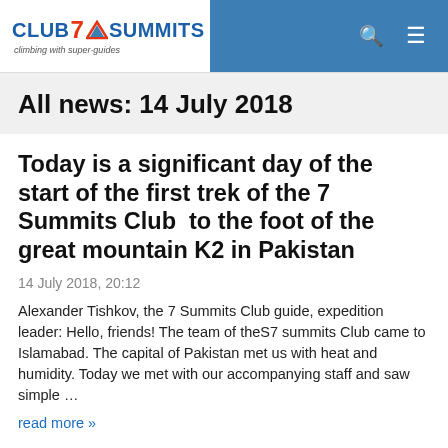CLUB 7 SUMMITS climbing with super-guides
All news: 14 July 2018
Today is a significant day of the start of the first trek of the 7 Summits Club  to the foot of the great mountain K2 in Pakistan
14 July 2018, 20:12
Alexander Tishkov, the 7 Summits Club guide, expedition leader: Hello, friends! The team of theS7 summits Club came to Islamabad. The capital of Pakistan met us with heat and humidity. Today we met with our accompanying staff and saw simple …
read more »